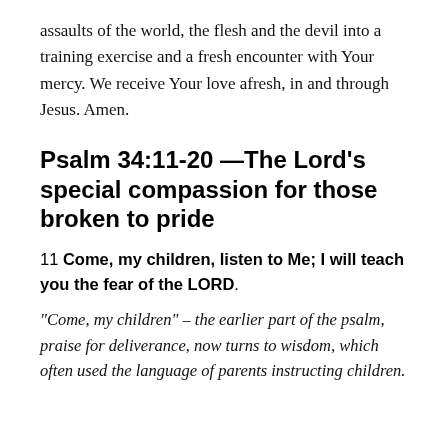assaults of the world, the flesh and the devil into a training exercise and a fresh encounter with Your mercy. We receive Your love afresh, in and through Jesus. Amen.
Psalm 34:11-20 —The Lord’s special compassion for those broken to pride
11 Come, my children, listen to Me; I will teach you the fear of the LORD.
“Come, my children” – the earlier part of the psalm, praise for deliverance, now turns to wisdom, which often used the language of parents instructing children.